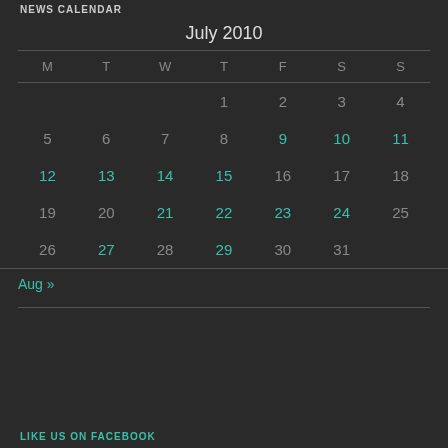NEWS CALENDAR
July 2010
| M | T | W | T | F | S | S |
| --- | --- | --- | --- | --- | --- | --- |
|  |  |  | 1 | 2 | 3 | 4 |
| 5 | 6 | 7 | 8 | 9 | 10 | 11 |
| 12 | 13 | 14 | 15 | 16 | 17 | 18 |
| 19 | 20 | 21 | 22 | 23 | 24 | 25 |
| 26 | 27 | 28 | 29 | 30 | 31 |  |
Aug »
LIKE US ON FACEBOOK